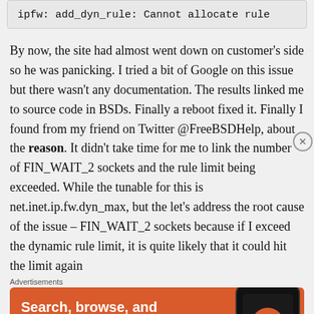ipfw: add_dyn_rule: Cannot allocate rule
By now, the site had almost went down on customer's side so he was panicking. I tried a bit of Google on this issue but there wasn't any documentation. The results linked me to source code in BSDs. Finally a reboot fixed it. Finally I found from my friend on Twitter @FreeBSDHelp, about the reason. It didn't take time for me to link the number of FIN_WAIT_2 sockets and the rule limit being exceeded. While the tunable for this is net.inet.ip.fw.dyn_max, but the let's address the root cause of the issue – FIN_WAIT_2 sockets because if I exceed the dynamic rule limit, it is quite likely that it could hit the limit again
Advertisements
[Figure (infographic): DuckDuckGo advertisement banner with orange background. Text reads: Search, browse, and email with more privacy. All in One Free App. Shows a phone with DuckDuckGo logo.]